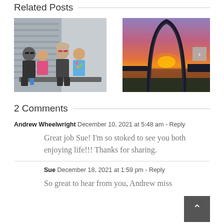Related Posts
[Figure (photo): Family photo: two adults and two children sitting together on a bench, smiling]
[Figure (photo): Photo of the St. Louis Gateway Arch at sunset with orange and purple sky and river in background]
2 Comments
Andrew Wheelwright  December 10, 2021 at 5:48 am  - Reply
Great job Sue! I'm so stoked to see you both enjoying life!!! Thanks for sharing.
Sue  December 18, 2021 at 1:59 pm  - Reply
So great to hear from you, Andrew miss